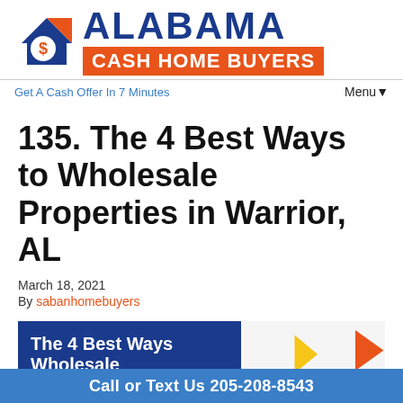[Figure (logo): Alabama Cash Home Buyers logo with house icon containing dollar sign, blue text ALABAMA, orange bar with white text CASH HOME BUYERS]
Get A Cash Offer In 7 Minutes
Menu▾
135. The 4 Best Ways to Wholesale Properties in Warrior, AL
March 18, 2021
By sabanhomebuyers
[Figure (infographic): Thumbnail image: blue background on left with white bold text 'The 4 Best Ways Wholesale' and colorful arrows (yellow, red, light blue) on right side]
Call or Text Us 205-208-8543